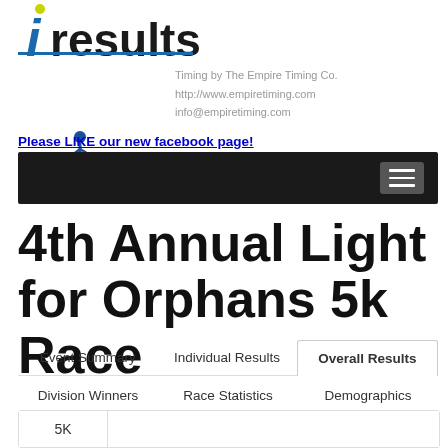[Figure (logo): iresults logo with stylized italic i in blue and dot in yellow-green, followed by 'results' in bold dark text, with blue underline]
[Figure (logo): The Empire Timing Co. logo with runner figure and oval, alongside contact text: Timing by The Empire Timing Co., http://www.empiretiming.com, info@empiretiming.com]
Please LIKE our new facebook page!
[Figure (screenshot): Black navigation bar with hamburger menu icon on the right]
4th Annual Light for Orphans 5k Race
Event Summary | Individual Results | Overall Results | Division Winners | Race Statistics | Demographics
5K